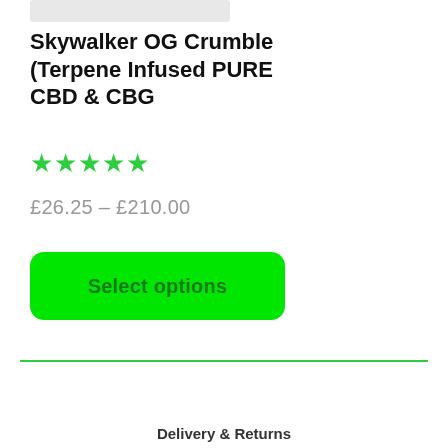[Figure (photo): Partial product image at top, cropped]
Skywalker OG Crumble (Terpene Infused PURE CBD & CBG
★★★★★
£26.25 – £210.00
Select options
Delivery & Returns